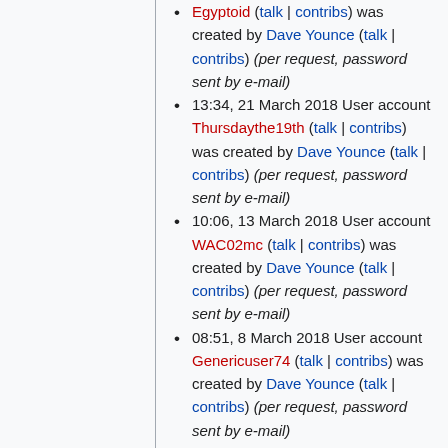Egyptoid (talk | contribs) was created by Dave Younce (talk | contribs) (per request, password sent by e-mail)
13:34, 21 March 2018 User account Thursdaythe19th (talk | contribs) was created by Dave Younce (talk | contribs) (per request, password sent by e-mail)
10:06, 13 March 2018 User account WAC02mc (talk | contribs) was created by Dave Younce (talk | contribs) (per request, password sent by e-mail)
08:51, 8 March 2018 User account Genericuser74 (talk | contribs) was created by Dave Younce (talk | contribs) (per request, password sent by e-mail)
13:55, 20 February 2018 User account Lousgameswin